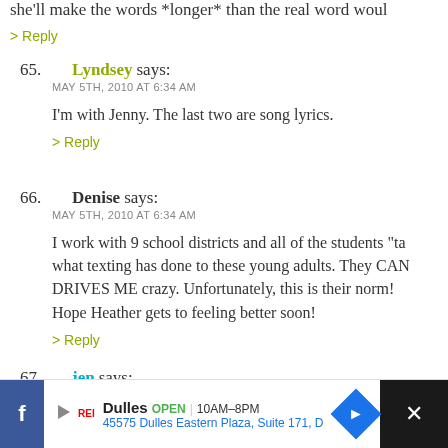she'll make the words *longer* than the real word would
> Reply
65. Lyndsey says:
MAY 5TH, 2010 AT 6:34 AM
I'm with Jenny. The last two are song lyrics.
> Reply
66. Denise says:
MAY 5TH, 2010 AT 6:34 AM
I work with 9 school districts and all of the students "ta... what texting has done to these young adults. They CAN... DRIVES ME crazy. Unfortunately, this is their norm! Hope Heather gets to feeling better soon!
> Reply
67. jen says:
MAY 5TH, 2010 AT 6:36 AM
[Figure (screenshot): Advertisement banner for Dulles store: OPEN 10AM-8PM, 45575 Dulles Eastern Plaza, Suite 171, D]